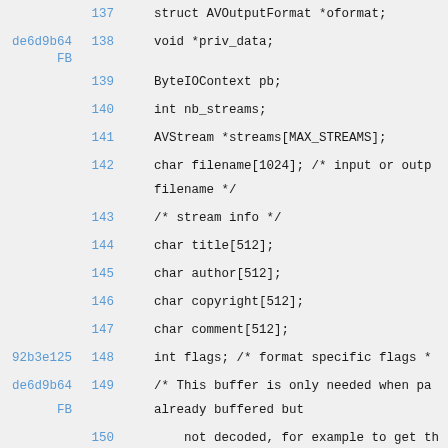137    struct AVOutputFormat *oformat;
de6d9b64 FB 138    void *priv_data;
139    ByteIOContext pb;
140    int nb_streams;
141    AVStream *streams[MAX_STREAMS];
142    char filename[1024]; /* input or outp filename */
143    /* stream info */
144    char title[512];
145    char author[512];
146    char copyright[512];
147    char comment[512];
92b3e125 148    int flags; /* format specific flags *
de6d9b64 FB 149    /* This buffer is only needed when pa already buffered but
150        not decoded, for example to get th parameters in mpeg